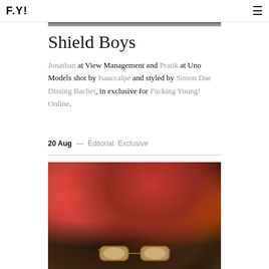F.Y!
Shield Boys
Jonathan at View Management and Pratik at Uno Models shot by Isaaccalpe and styled by Simon Dae Dissing Bacher, in exclusive for Fucking Young! Online.
20 Aug — Editorial. Exclusive
[Figure (photo): Close-up photograph of a person with dark hair viewed from above, surrounded by pink and green textured surface (possibly coral or rock), wearing butterfly-shaped glasses at the bottom of the frame]